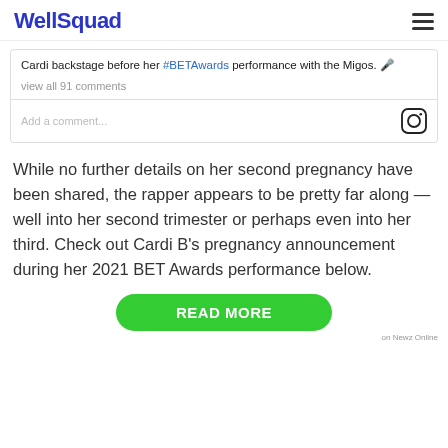WellSquad
Cardi backstage before her #BETAwards performance with the Migos. 🎤
view all 91 comments
Add a comment...
While no further details on her second pregnancy have been shared, the rapper appears to be pretty far along — well into her second trimester or perhaps even into her third. Check out Cardi B's pregnancy announcement during her 2021 BET Awards performance below.
READ MORE
on Newz Online